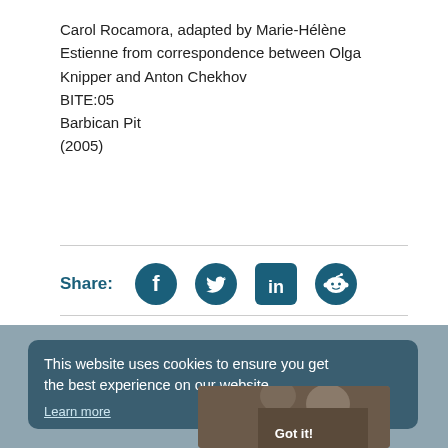Carol Rocamora, adapted by Marie-Hélène Estienne from correspondence between Olga Knipper and Anton Chekhov
BITE:05
Barbican Pit
(2005)
Share:
[Figure (infographic): Social sharing icons: Facebook, Twitter, LinkedIn, Reddit — teal circular icons]
This website uses cookies to ensure you get the best experience on our website. Learn more
[Figure (photo): Partially visible photo of two people, with 'Got it!' button overlay at the bottom]